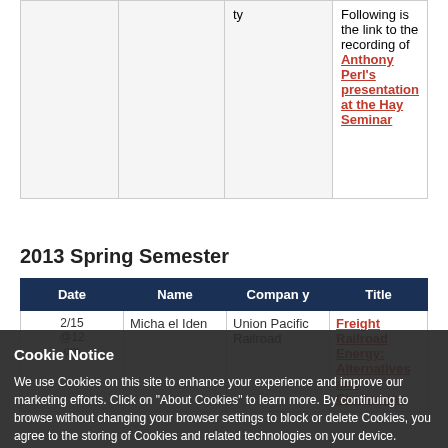| Date | Name | Company | Title |
| --- | --- | --- | --- |
|  |  | ty | Following is the link to the recording of Anthony Perl's presentation at the Hay Seminar |
2013 Spring Semester
| Date | Name | Company | Title |
| --- | --- | --- | --- |
| 2/15 @12 om | Michael Iden | Union Pacific Railroad | Freight Railroad Energy: Alternatives and Challenges / recording of Michael Iden's presentation at the Hay |
Cookie Notice: We use Cookies on this site to enhance your experience and improve our marketing efforts. Click on "About Cookies" to learn more. By continuing to browse without changing your browser settings to block or delete Cookies, you agree to the storing of Cookies and related technologies on your device. University of Illinois Web Privacy Notice